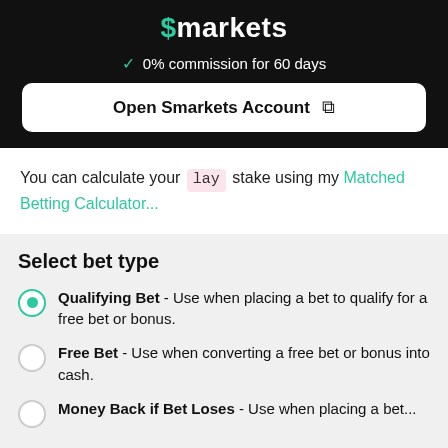[Figure (logo): Smarkets logo with dollar sign in teal/green color on black background]
✓  0% commission for 60 days
Open Smarkets Account ↗
You can calculate your lay stake using my Matched Betting Calculator...
Select bet type
Qualifying Bet - Use when placing a bet to qualify for a free bet or bonus.
Free Bet - Use when converting a free bet or bonus into cash.
Money Back if Bet Loses - Use when placing a bet...